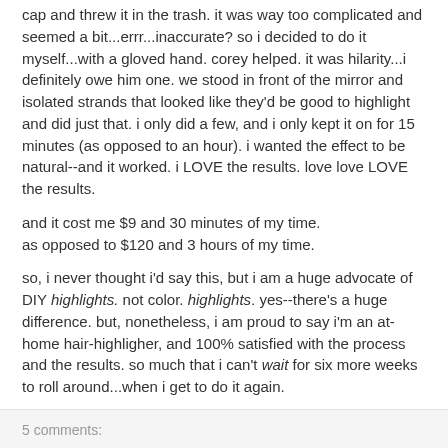cap and threw it in the trash. it was way too complicated and seemed a bit...errr...inaccurate? so i decided to do it myself...with a gloved hand. corey helped. it was hilarity...i definitely owe him one. we stood in front of the mirror and isolated strands that looked like they'd be good to highlight and did just that. i only did a few, and i only kept it on for 15 minutes (as opposed to an hour). i wanted the effect to be natural--and it worked. i LOVE the results. love love LOVE the results.
and it cost me $9 and 30 minutes of my time.
as opposed to $120 and 3 hours of my time.
so, i never thought i'd say this, but i am a huge advocate of DIY highlights. not color. highlights. yes--there's a huge difference. but, nonetheless, i am proud to say i'm an at-home hair-highligher, and 100% satisfied with the process and the results. so much that i can't wait for six more weeks to roll around...when i get to do it again.
5 comments: